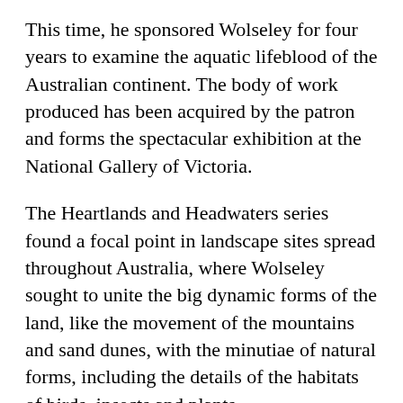This time, he sponsored Wolseley for four years to examine the aquatic lifeblood of the Australian continent. The body of work produced has been acquired by the patron and forms the spectacular exhibition at the National Gallery of Victoria.
The Heartlands and Headwaters series found a focal point in landscape sites spread throughout Australia, where Wolseley sought to unite the big dynamic forms of the land, like the movement of the mountains and sand dunes, with the minutiae of natural forms, including the details of the habitats of birds, insects and plants.
He also set out to incorporate in his paintings geological time, going back millennia, as well as more temporal concepts of time, such as the seasonal life cycle of a swamp lily. In many of these